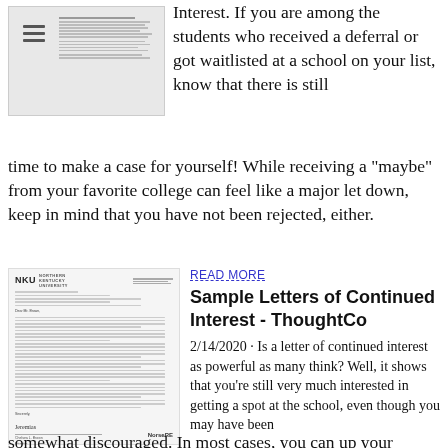[Figure (screenshot): Screenshot of a document or webpage with hamburger menu icon and small text lines]
Interest. If you are among the students who received a deferral or got waitlisted at a school on your list, know that there is still time to make a case for yourself! While receiving a "maybe" from your favorite college can feel like a major let down, keep in mind that you have not been rejected, either.
[Figure (screenshot): Screenshot of an NKU (Northern Kentucky University) sample letter of continued interest document]
READ MORE
Sample Letters of Continued Interest - ThoughtCo
2/14/2020 · Is a letter of continued interest as powerful as many think? Well, it shows that you're still very much interested in getting a spot at the school, even though you may have been somewhat discouraged. In most cases, you can up your chances